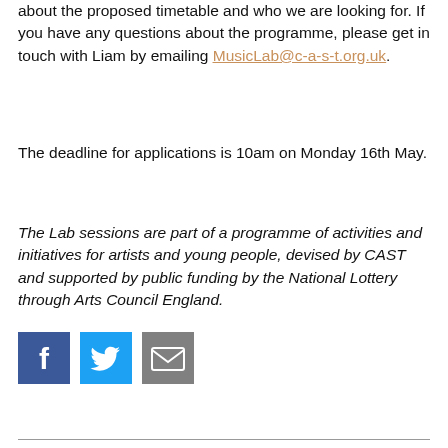about the proposed timetable and who we are looking for. If you have any questions about the programme, please get in touch with Liam by emailing MusicLab@c-a-s-t.org.uk.
The deadline for applications is 10am on Monday 16th May.
The Lab sessions are part of a programme of activities and initiatives for artists and young people, devised by CAST and supported by public funding by the National Lottery through Arts Council England.
[Figure (other): Social media share icons: Facebook (blue square with white f), Twitter (light blue square with white bird icon), Email (grey square with white envelope icon)]